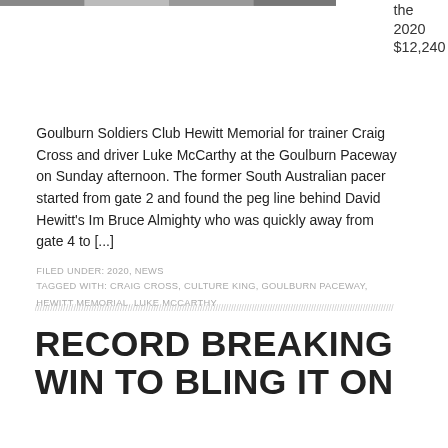[Figure (photo): Partial photo strip at top of page showing a horse racing event]
the
2020
$12,240
Goulburn Soldiers Club Hewitt Memorial for trainer Craig Cross and driver Luke McCarthy at the Goulburn Paceway on Sunday afternoon. The former South Australian pacer started from gate 2 and found the peg line behind David Hewitt's Im Bruce Almighty who was quickly away from gate 4 to [...]
FILED UNDER: 2020, NEWS
TAGGED WITH: CRAIG CROSS, CULTURE KING, GOULBURN PACEWAY, HEWITT MEMORIAL, LUKE MCCARTHY
RECORD BREAKING WIN TO BLING IT ON